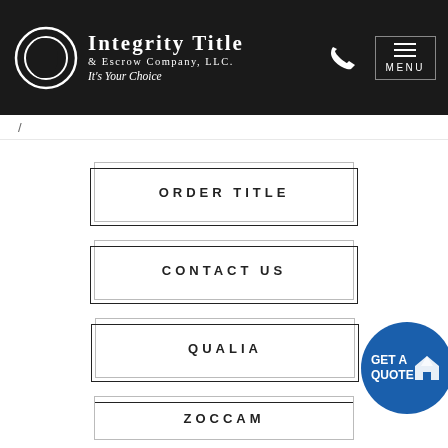[Figure (logo): Integrity Title & Escrow Company LLC logo with crescent moon graphic on dark header bar]
INTEGRITY TITLE & ESCROW COMPANY, LLC. It's Your Choice | MENU
/
ORDER TITLE
CONTACT US
QUALIA
ZOCCAM
[Figure (illustration): GET A QUOTE blue circular badge with house icon]